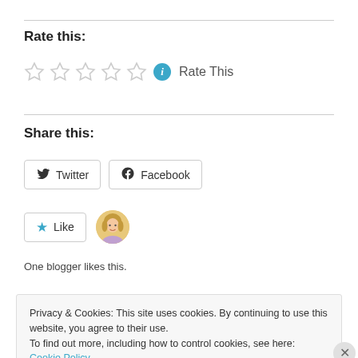Rate this:
☆ ☆ ☆ ☆ ☆  Rate This
Share this:
Twitter  Facebook
Like  [avatar]
One blogger likes this.
Privacy & Cookies: This site uses cookies. By continuing to use this website, you agree to their use.
To find out more, including how to control cookies, see here: Cookie Policy
[Close and accept]